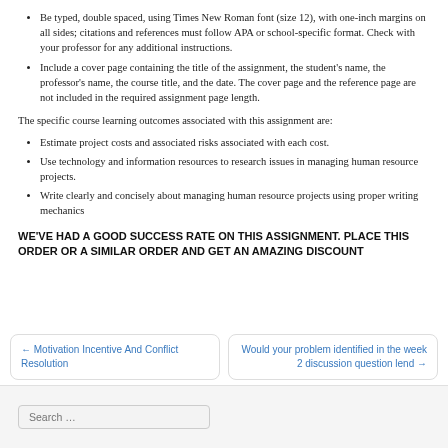Be typed, double spaced, using Times New Roman font (size 12), with one-inch margins on all sides; citations and references must follow APA or school-specific format. Check with your professor for any additional instructions.
Include a cover page containing the title of the assignment, the student's name, the professor's name, the course title, and the date. The cover page and the reference page are not included in the required assignment page length.
The specific course learning outcomes associated with this assignment are:
Estimate project costs and associated risks associated with each cost.
Use technology and information resources to research issues in managing human resource projects.
Write clearly and concisely about managing human resource projects using proper writing mechanics
WE'VE HAD A GOOD SUCCESS RATE ON THIS ASSIGNMENT. PLACE THIS ORDER OR A SIMILAR ORDER AND GET AN AMAZING DISCOUNT
← Motivation Incentive And Conflict Resolution
Would your problem identified in the week 2 discussion question lend →